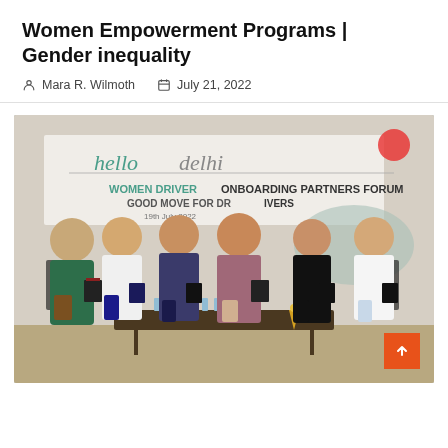Women Empowerment Programs | Gender inequality
Mara R. Wilmoth   July 21, 2022
[Figure (photo): Group of six people standing in front of a banner reading 'Women Driver Onboarding Partners Forum - Good Move for Drivers, 19th July 2022 - hello delhi'. They are holding books/tablets and posing for a photo at an indoor event.]